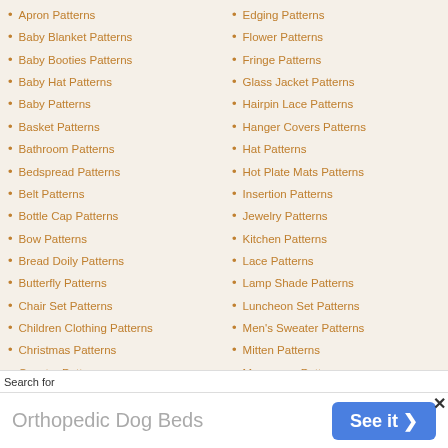Apron Patterns
Baby Blanket Patterns
Baby Booties Patterns
Baby Hat Patterns
Baby Patterns
Basket Patterns
Bathroom Patterns
Bedspread Patterns
Belt Patterns
Bottle Cap Patterns
Bow Patterns
Bread Doily Patterns
Butterfly Patterns
Chair Set Patterns
Children Clothing Patterns
Christmas Patterns
Coaster Patterns
Coat Patterns
Collar Patterns
Edging Patterns
Flower Patterns
Fringe Patterns
Glass Jacket Patterns
Hairpin Lace Patterns
Hanger Covers Patterns
Hat Patterns
Hot Plate Mats Patterns
Insertion Patterns
Jewelry Patterns
Kitchen Patterns
Lace Patterns
Lamp Shade Patterns
Luncheon Set Patterns
Men's Sweater Patterns
Mitten Patterns
Monogram Patterns
Motif Patterns
Napkin Holder Cover Patterns
Search for
Orthopedic Dog Beds